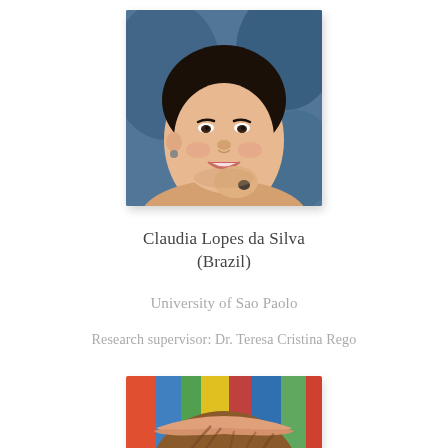[Figure (photo): Portrait photo of Claudia Lopes da Silva, a smiling woman with dark hair, hand resting near chin, against a blue background]
Claudia Lopes da Silva
(Brazil)
University of Sao Paolo
Research supervisor: Dr. Teresa Cristina Rego
[Figure (photo): Partial portrait photo of a second person, top of head visible showing hair with a headband, colorful background]